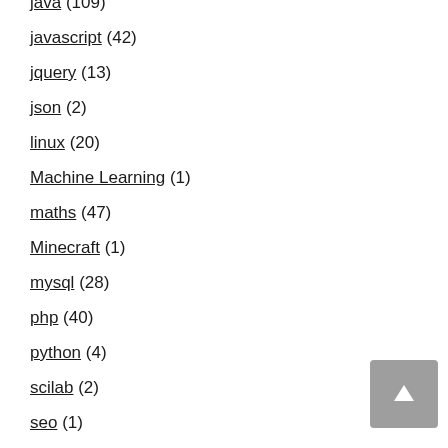java (109)
javascript (42)
jquery (13)
json (2)
linux (20)
Machine Learning (1)
maths (47)
Minecraft (1)
mysql (28)
php (40)
python (4)
scilab (2)
seo (1)
servlet (14)